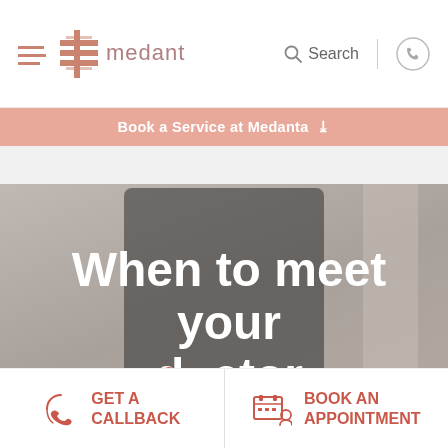Medanta — Search | Call
Book a Service at Medanta
[Figure (screenshot): Hero image of a hospital interior (blurred background) with large white text overlay reading 'When to meet your doctor' and subtitle 'OPD Schedule' with decorative red dots, on a muted gray-brown background.]
GET A CALLBACK
BOOK AN APPOINTMENT